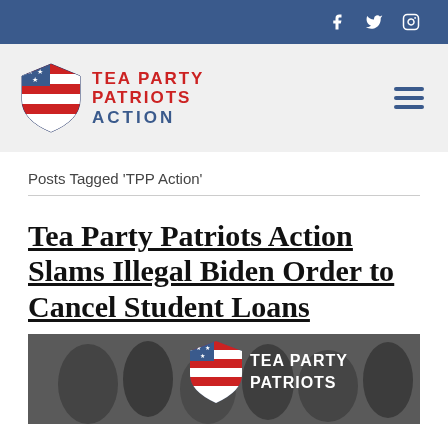Social bar with Facebook, Twitter, Instagram icons
[Figure (logo): Tea Party Patriots Action shield logo with American flag design and text TEA PARTY PATRIOTS ACTION]
Posts Tagged 'TPP Action'
Tea Party Patriots Action Slams Illegal Biden Order to Cancel Student Loans
[Figure (photo): Black and white photo of crowd with Tea Party Patriots logo overlay]